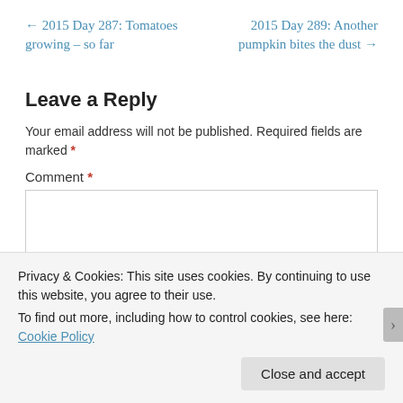← 2015 Day 287: Tomatoes growing – so far
2015 Day 289: Another pumpkin bites the dust →
Leave a Reply
Your email address will not be published. Required fields are marked *
Comment *
Privacy & Cookies: This site uses cookies. By continuing to use this website, you agree to their use.
To find out more, including how to control cookies, see here: Cookie Policy
Close and accept